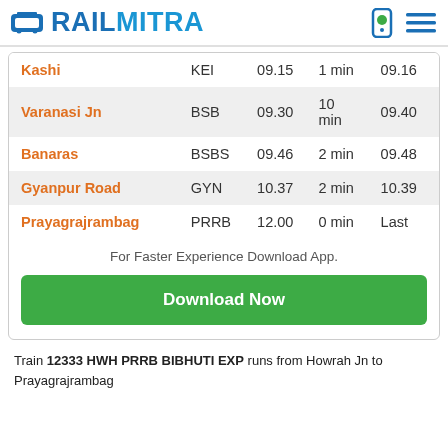RAILMITRA
| Station | Code | Arrival | Halt | Departure |
| --- | --- | --- | --- | --- |
| Kashi | KEI | 09.15 | 1 min | 09.16 |
| Varanasi Jn | BSB | 09.30 | 10 min | 09.40 |
| Banaras | BSBS | 09.46 | 2 min | 09.48 |
| Gyanpur Road | GYN | 10.37 | 2 min | 10.39 |
| Prayagrajrambag | PRRB | 12.00 | 0 min | Last |
For Faster Experience Download App.
Download Now
Train 12333 HWH PRRB BIBHUTI EXP runs from Howrah Jn to Prayagrajrambag